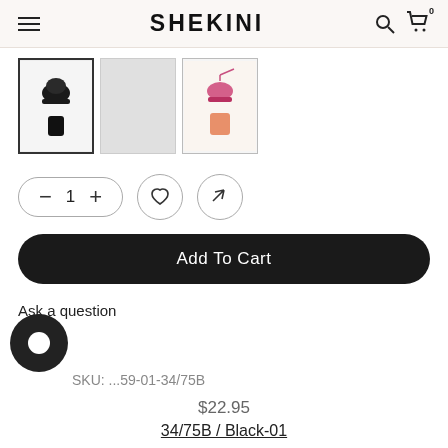SHEKINI
[Figure (screenshot): Three product thumbnail images of swimwear: first is a black bikini set (active/selected), second is a grey placeholder, third is a colorful bikini set]
— 1 + ♡ ⤢
Add To Cart
Ask a question
SKU: ...59-01-34/75B
$22.95
34/75B / Black-01
— 1 + ADD TO CART